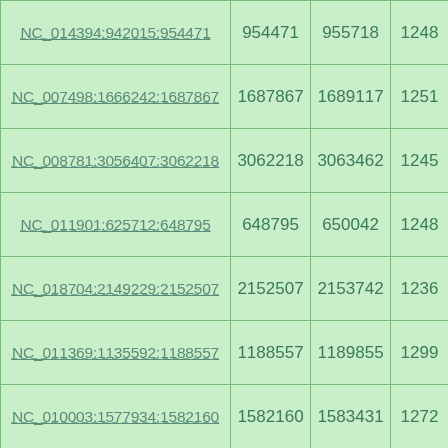| Sequence ID | Start | End | Length |
| --- | --- | --- | --- |
| NC_014394:942015:954471 | 954471 | 955718 | 1248 |
| NC_007498:1666242:1687867 | 1687867 | 1689117 | 1251 |
| NC_008781:3056407:3062218 | 3062218 | 3063462 | 1245 |
| NC_011901:625712:648795 | 648795 | 650042 | 1248 |
| NC_018704:2149229:2152507 | 2152507 | 2153742 | 1236 |
| NC_011369:1135592:1188557 | 1188557 | 1189855 | 1299 |
| NC_010003:1577934:1582160 | 1582160 | 1583431 | 1272 |
| (partial row) |  |  |  |